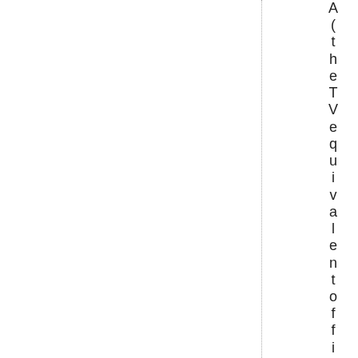A(the TV equivalent of film, sRand